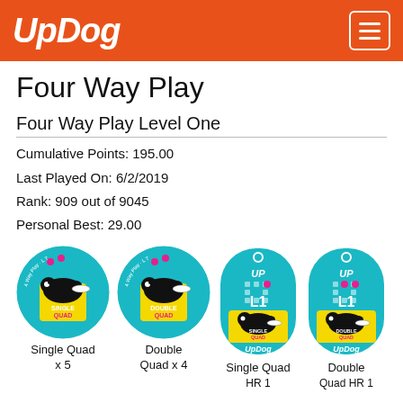UpDog
Four Way Play
Four Way Play Level One
Cumulative Points: 195.00
Last Played On: 6/2/2019
Rank: 909 out of 9045
Personal Best: 29.00
[Figure (illustration): Single Quad circular badge (teal background, dog/frisbee graphic, text Single Quad and 4 Way Play) × 5]
Single Quad x 5
[Figure (illustration): Double Quad circular badge (teal background, dog/frisbee graphic, text Double Quad and 4 Way Play) × 4]
Double Quad x 4
[Figure (illustration): Single Quad dog tag (teal, UP L1, Single Quad badge graphic, UpDog text at bottom) - Single Quad HR 1 tag]
Single Quad HR 1
[Figure (illustration): Double Quad dog tag (teal, UP L1, Double Quad badge graphic, UpDog text at bottom) - Double Quad HR 1 tag]
Double Quad HR 1